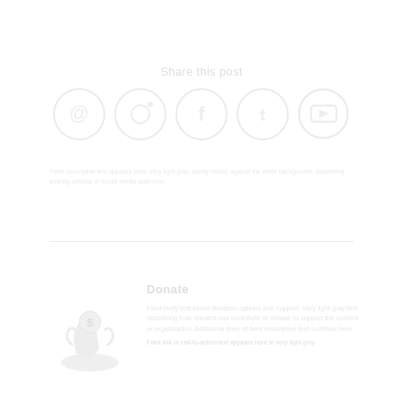Share this post
[Figure (illustration): Row of five social media icon circles (very light/faint): appears to show email/share icons and social platform logos including what appear to be @ symbol, circles with icons, rendered in very light gray/white]
Donate
[Figure (illustration): Faint light gray illustration of a hand/figure holding something, possibly a donation-related image, rendered in very light gray tones]
Faint body text about donation, very light gray, difficult to read clearly